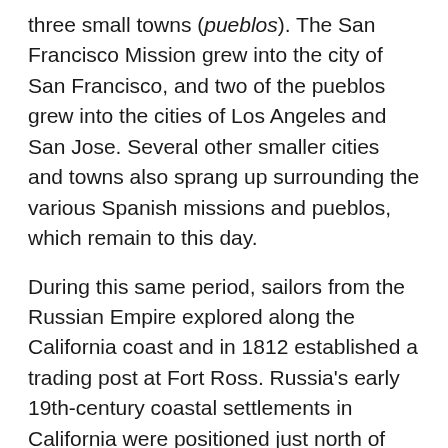three small towns (pueblos). The San Francisco Mission grew into the city of San Francisco, and two of the pueblos grew into the cities of Los Angeles and San Jose. Several other smaller cities and towns also sprang up surrounding the various Spanish missions and pueblos, which remain to this day.
During this same period, sailors from the Russian Empire explored along the California coast and in 1812 established a trading post at Fort Ross. Russia's early 19th-century coastal settlements in California were positioned just north of the northernmost edge of the area of Spanish settlement in San Francisco Bay, and were the southernmost Russian settlements in